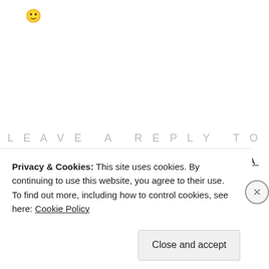[Figure (illustration): Yellow smiley face emoji icon in top left corner]
LEAVE A REPLY TO
LAGOTTOCATTLEYA
CANCEL REPLY
Your email address will not be published. Required fields are marked *
Comment *
Privacy & Cookies: This site uses cookies. By continuing to use this website, you agree to their use. To find out more, including how to control cookies, see here: Cookie Policy
Close and accept